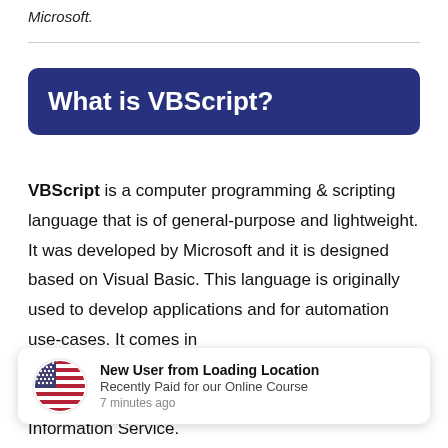Microsoft.
What is VBScript?
VBScript is a computer programming & scripting language that is of general-purpose and lightweight. It was developed by Microsoft and it is designed based on Visual Basic. This language is originally used to develop applications and for automation use-cases. It comes integrated with Microsoft Internet Explorer browser and also known as the default scripting language in the Microsoft Internet Information Service.
[Figure (infographic): Notification popup overlay showing a US flag circle icon, bold title 'New User from Loading Location', subtitle 'Recently Paid for our Online Course', and timestamp '7 minutes ago']